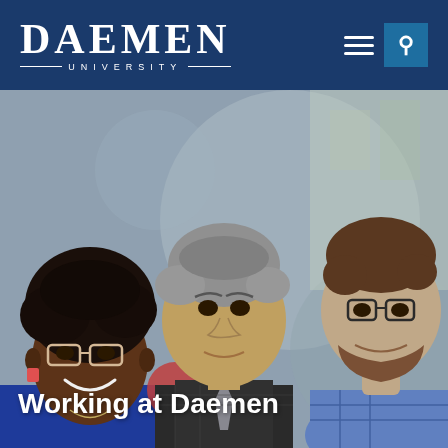DAEMEN UNIVERSITY
[Figure (photo): Three smiling people posed together against a gray abstract background: a Black woman with natural hair and clear-framed glasses wearing a blue top (left), an androgynous person with short salt-and-pepper hair wearing a dark plaid blazer with a gray tie (center), and a white man with a beard and dark-framed glasses wearing a plaid shirt (right).]
Working at Daemen